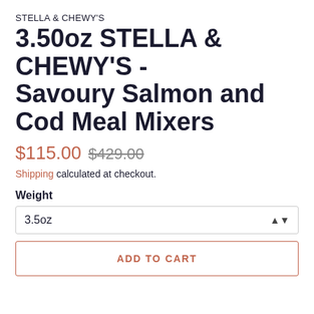STELLA & CHEWY'S
3.50oz STELLA & CHEWY'S - Savoury Salmon and Cod Meal Mixers
$115.00  $429.00
Shipping calculated at checkout.
Weight
3.5oz
ADD TO CART